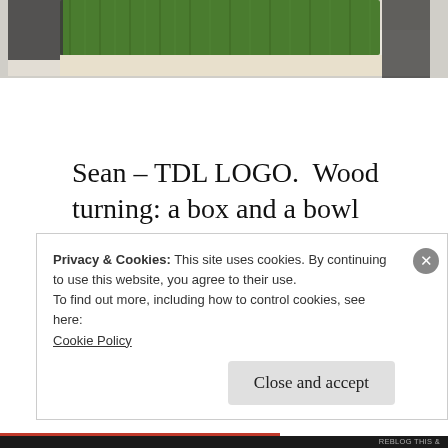[Figure (photo): Partial photo showing green artificial grass/turf on a light-colored surface, cropped at the top of the page]
Sean – TDL LOGO.  Wood turning: a box and a bowl procrastinating on the bed build still. Made the stiles and rail for the headboard panel for the bed.
Privacy & Cookies: This site uses cookies. By continuing to use this website, you agree to their use.
To find out more, including how to control cookies, see here:
Cookie Policy

Close and accept